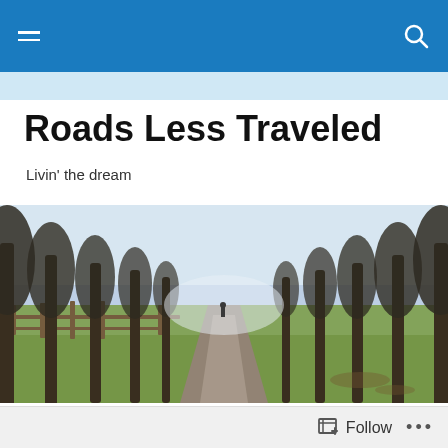Roads Less Traveled — navigation bar with hamburger menu and search icon
Roads Less Traveled
Livin' the dream
[Figure (photo): A tree-lined path or road receding into the distance, with bare-leafed tall trees on both sides, a wooden fence on the left, green grass, and misty light in the background. A distant figure is visible on the path.]
Parque Arvi and Sex Tourism
Remember when I told you I'd take the Turibus around the city today?  Remember when I also told you there are a
Follow  •••